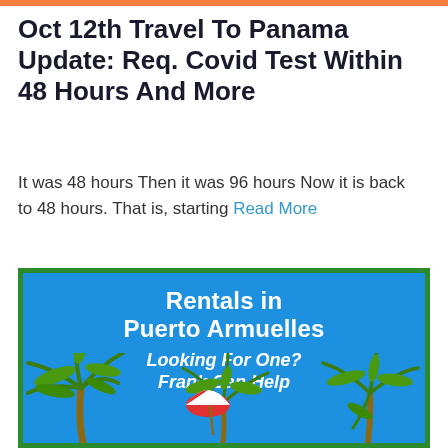Oct 12th Travel To Panama Update: Req. Covid Test Within 48 Hours And More
It was 48 hours Then it was 96 hours Now it is back to 48 hours. That is, starting Read More
[Figure (illustration): Advertisement for Rentals in Puerto Armuelles with palm trees on blue background with green border. Text reads: Rentals in Puerto Armuelles. Looking For One? Frank Can Help. Decorated with illustrated palm trees and a beach umbrella.]